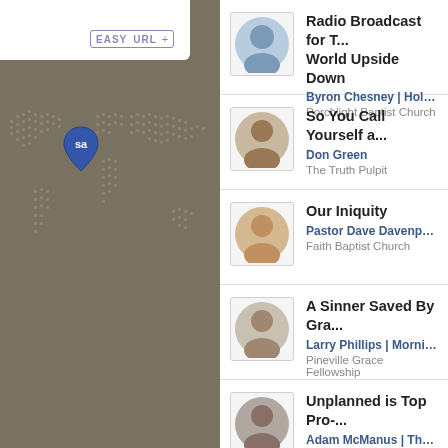[Figure (screenshot): Left panel showing a world map with dotted country outlines on a brownish-gray background, a white box in the upper left, an 'EASY URL +' button, and a blue shield/pin marker with 'sa' logo.]
Radio Broadcast for T... World Upside Down | Byron Chesney | Holy Manna... | Porchlight Baptist Church
So You Call Yourself a... | Don Green | The Truth Pulpit
Our Iniquity | Pastor Dave Davenport | "Go... | Faith Baptist Church
A Sinner Saved By Gra... | Larry Phillips | Morning Devo... | Pineville Grace Fellowship
Unplanned is Top Pro-... | Adam McManus | The World V... | The World View in 5 Minutes